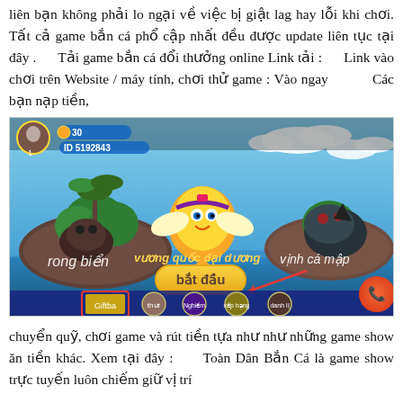liên bạn không phải lo ngại về việc bị giật lag hay lỗi khi chơi. Tất cả game bắn cá phổ cập nhất đều được update liên tục tại đây .      Tải game bắn cá đổi thưởng online Link tải :       Link vào chơi trên Website / máy tính, chơi thử game : Vào ngay           Các bạn nạp tiền,
[Figure (screenshot): Screenshot of a Vietnamese fish-shooting online game showing a tropical island scene with animated fish characters, game UI elements including player avatar, ID number 5192843, coin counter showing 30, and menu buttons at the bottom including 'bắt đầu' (start) button, with text overlays 'rong biển', 'vương quốc đại dương', and 'vịnh cá mập'.]
chuyển quỹ, chơi game và rút tiền tựa như như những game show ăn tiền khác. Xem tại đây :       Toàn Dân Bắn Cá là game show trực tuyến luôn chiếm giữ vị trí